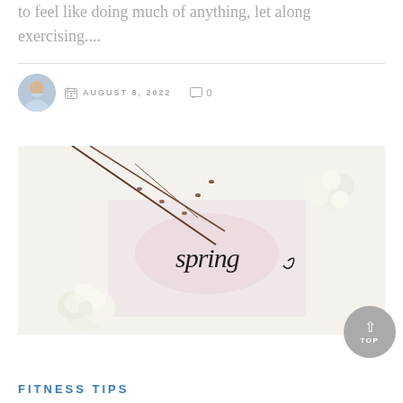to feel like doing much of anything, let along exercising....
AUGUST 8, 2022   0
[Figure (photo): A spring-themed flat lay photo with white roses, bare twigs, and a card with cursive text reading 'spring' on a light pink background]
FITNESS TIPS